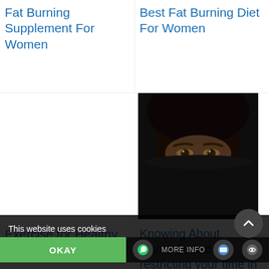Fat Burning Supplement For Women
Best Fat Burning Diet For Women
[Figure (photo): Close-up photo of a woman's eyes visible above a dark covering, dark background]
Exercise for Healthy Living
Knowing About Insomnia and restricting your time in bed, only to sleep may help you......
* by sha
This website uses cookies
OKAY
MORE INFO